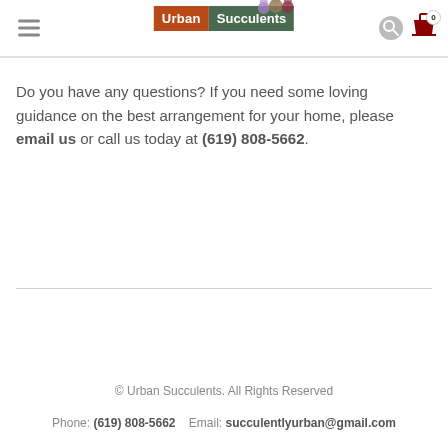Urban Succulents [navigation header with logo, search, and cart]
Do you have any questions? If you need some loving guidance on the best arrangement for your home, please email us or call us today at (619) 808-5662.
© Urban Succulents. All Rights Reserved
Phone: (619) 808-5662   Email: succulentlyurban@gmail.com